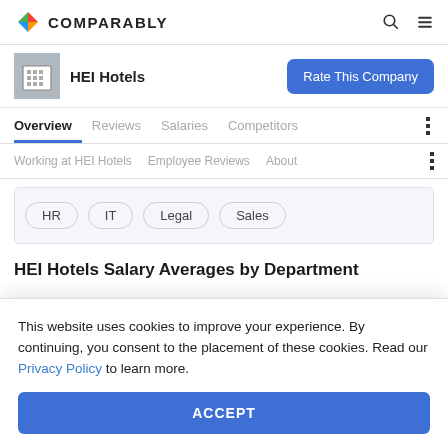COMPARABLY
HEI Hotels
Rate This Company
Overview  Reviews  Salaries  Competitors
Working at HEI Hotels  Employee Reviews  About
HR
IT
Legal
Sales
HEI Hotels Salary Averages by Department
This website uses cookies to improve your experience. By continuing, you consent to the placement of these cookies. Read our Privacy Policy to learn more.
ACCEPT